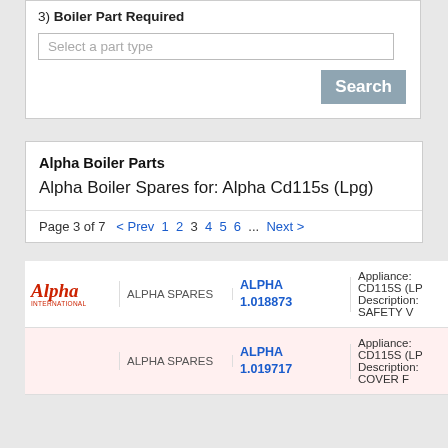3) Boiler Part Required
Select a part type
Search
Alpha Boiler Parts
Alpha Boiler Spares for: Alpha Cd115s (Lpg)
Page 3 of 7  < Prev  1  2  3  4  5  6  ...  Next >
| Logo | Supplier | Part Number | Details |
| --- | --- | --- | --- |
| Alpha [logo] | ALPHA SPARES | ALPHA 1.018873 | Appliance: CD115S (LP...
Description: SAFETY V... |
|  | ALPHA SPARES | ALPHA 1.019717 | Appliance: CD115S (LP...
Description: COVER F... |